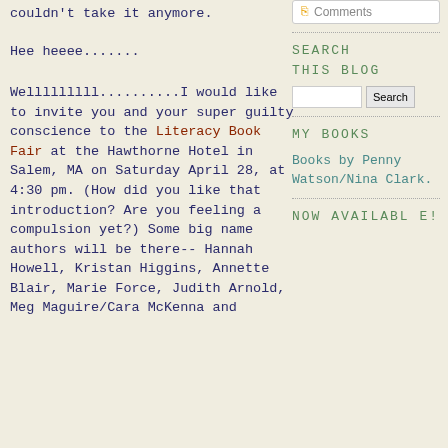couldn't take it anymore.
Hee heeee.......
Welllllllll..........I would like to invite you and your super guilty conscience to the Literacy Book Fair at the Hawthorne Hotel in Salem, MA on Saturday April 28, at 4:30 pm. (How did you like that introduction? Are you feeling a compulsion yet?) Some big name authors will be there-- Hannah Howell, Kristan Higgins, Annette Blair, Marie Force, Judith Arnold, Meg Maguire/Cara McKenna and
Comments
SEARCH THIS BLOG
MY BOOKS
Books by Penny Watson/Nina Clark.
NOW AVAILABLE!